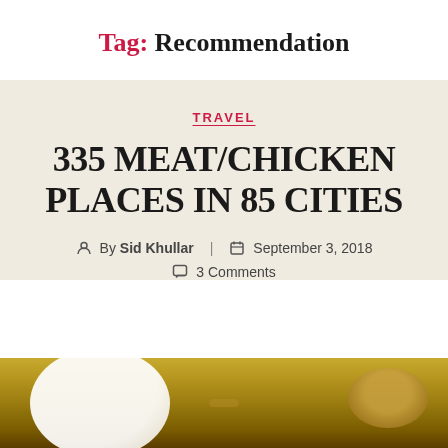Tag: Recommendation
TRAVEL
335 Meat/Chicken Places in 85 Cities
By Sid Khullar   September 3, 2018   3 Comments
[Figure (photo): Close-up photo of a dish, showing a white plate and a golden/yellow curry or broth in a bowl, food photography style]